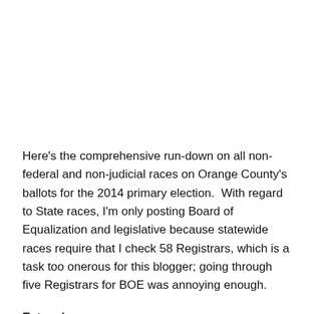Here's the comprehensive run-down on all non-federal and non-judicial races on Orange County's ballots for the 2014 primary election.  With regard to State races, I'm only posting Board of Equalization and legislative because statewide races require that I check 58 Registrars, which is a task too onerous for this blogger; going through five Registrars for BOE was annoying enough.
Extensions